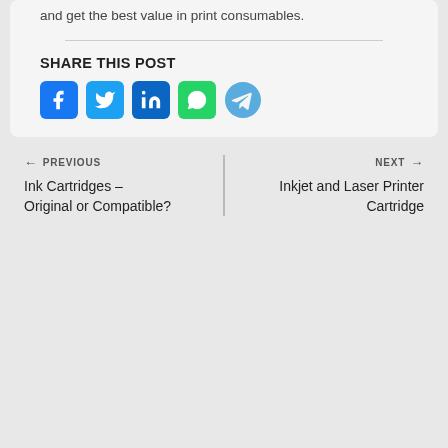and get the best value in print consumables.
SHARE THIS POST
[Figure (illustration): Social share icons: Facebook, Twitter, LinkedIn, WhatsApp, Telegram]
← PREVIOUS
Ink Cartridges – Original or Compatible?
NEXT →
Inkjet and Laser Printer Cartridge